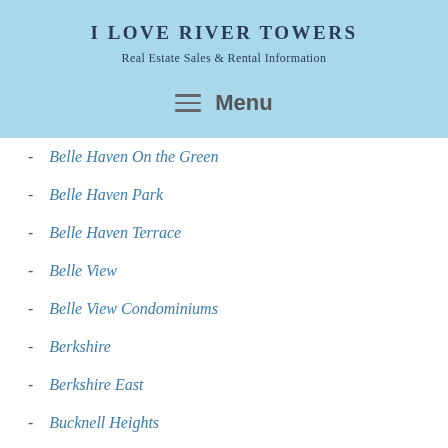I Love River Towers
Real Estate Sales & Rental Information
Menu
Belle Haven On the Green
Belle Haven Park
Belle Haven Terrace
Belle View
Belle View Condominiums
Berkshire
Berkshire East
Bucknell Heights